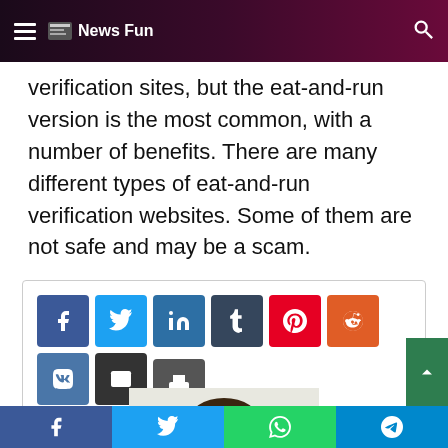News Fun
verification sites, but the eat-and-run version is the most common, with a number of benefits. There are many different types of eat-and-run verification websites. Some of them are not safe and may be a scam.
[Figure (other): Social media share buttons: Facebook, Twitter, LinkedIn, Tumblr, Pinterest, Reddit, VK, Email, Print]
[Figure (photo): Smiling young man with curly hair, head and shoulders visible]
[Figure (other): Bottom navigation bar with Facebook, Twitter, WhatsApp, Telegram share buttons]